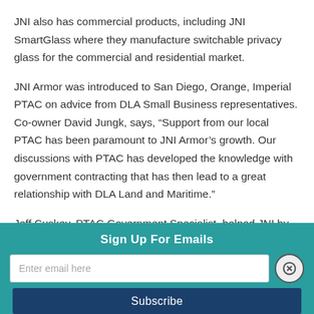JNI also has commercial products, including JNI SmartGlass where they manufacture switchable privacy glass for the commercial and residential market.
JNI Armor was introduced to San Diego, Orange, Imperial PTAC on advice from DLA Small Business representatives. Co-owner David Jungk, says, “Support from our local PTAC has been paramount to JNI Armor’s growth. Our discussions with PTAC has developed the knowledge with government contracting that has then lead to a great relationship with DLA Land and Maritime.”
Jeff Cuskey, PTAC Government Specialist, helped JNI by
Sign Up For Emails